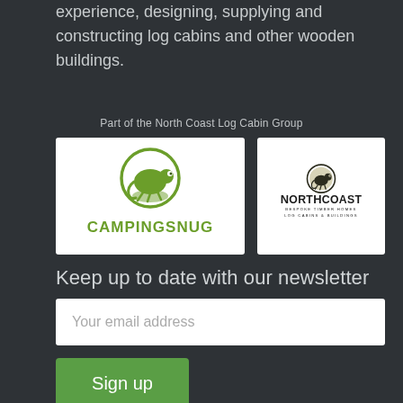experience, designing, supplying and constructing log cabins and other wooden buildings.
Part of the North Coast Log Cabin Group
[Figure (logo): CampingSnug logo: green circular chameleon icon above green bold text 'CAMPINGSNUG']
[Figure (logo): North Coast logo: dark circular chameleon icon, bold text 'NORTHCOAST' with tagline 'BESPOKE TIMBER HOMES LOG CABINS & BUILDINGS']
Keep up to date with our newsletter
Your email address
Sign up
By subscribing you agree to us sending you occasional emails with free tips and info about our products and services. Unsubscribe at any time. Read our privacy policy